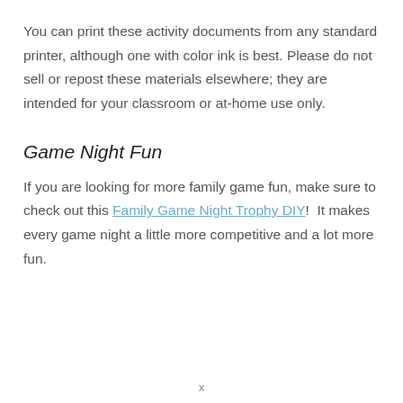You can print these activity documents from any standard printer, although one with color ink is best. Please do not sell or repost these materials elsewhere; they are intended for your classroom or at-home use only.
Game Night Fun
If you are looking for more family game fun, make sure to check out this Family Game Night Trophy DIY!  It makes every game night a little more competitive and a lot more fun.
x